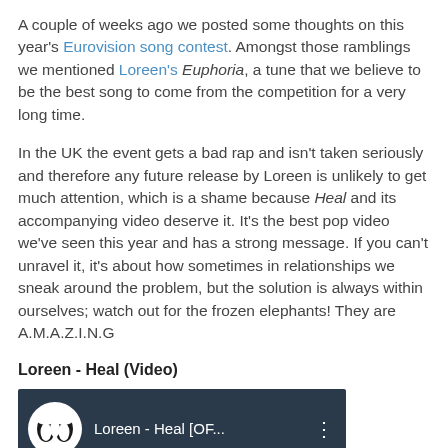A couple of weeks ago we posted some thoughts on this year's Eurovision song contest. Amongst those ramblings we mentioned Loreen's Euphoria, a tune that we believe to be the best song to come from the competition for a very long time.
In the UK the event gets a bad rap and isn't taken seriously and therefore any future release by Loreen is unlikely to get much attention, which is a shame because Heal and its accompanying video deserve it. It's the best pop video we've seen this year and has a strong message. If you can't unravel it, it's about how sometimes in relationships we sneak around the problem, but the solution is always within ourselves; watch out for the frozen elephants! They are A.M.A.Z.I.N.G
Loreen - Heal (Video)
[Figure (screenshot): YouTube video thumbnail for Loreen - Heal [OF... with Warner Music logo on dark background]